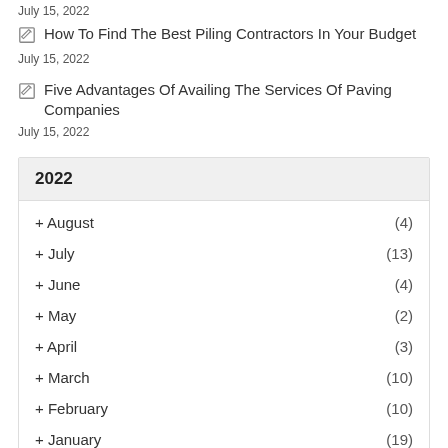July 15, 2022
How To Find The Best Piling Contractors In Your Budget
July 15, 2022
Five Advantages Of Availing The Services Of Paving Companies
July 15, 2022
2022
+ August (4)
+ July (13)
+ June (4)
+ May (2)
+ April (3)
+ March (10)
+ February (10)
+ January (19)